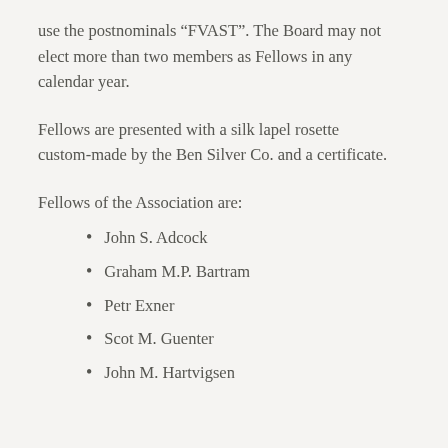use the postnominals “FVAST”. The Board may not elect more than two members as Fellows in any calendar year.
Fellows are presented with a silk lapel rosette custom-made by the Ben Silver Co. and a certificate.
Fellows of the Association are:
John S. Adcock
Graham M.P. Bartram
Petr Exner
Scot M. Guenter
John M. Hartvigsen